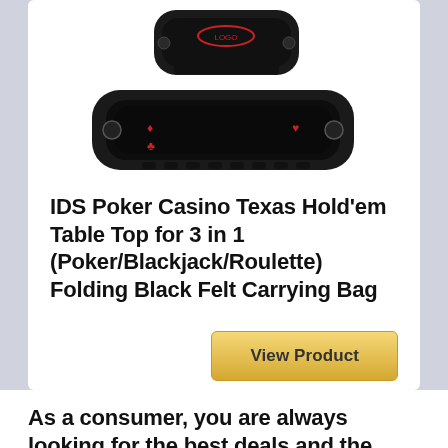[Figure (photo): Product image showing two IDS Poker Casino Texas Hold'em folding table tops — one folded/closed and one open, both black with playing surface details]
IDS Poker Casino Texas Hold'em Table Top for 3 in 1 (Poker/Blackjack/Roulette) Folding Black Felt Carrying Bag
View Product
As a consumer, you are always looking for the best deals and the best